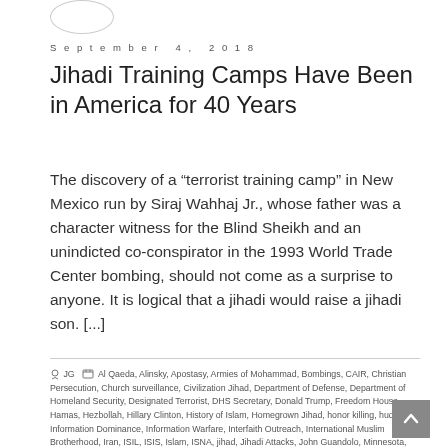September 4, 2018
Jihadi Training Camps Have Been in America for 40 Years
The discovery of a “terrorist training camp” in New Mexico run by Siraj Wahhaj Jr., whose father was a character witness for the Blind Sheikh and an unindicted co-conspirator in the 1993 World Trade Center bombing, should not come as a surprise to anyone. It is logical that a jihadi would raise a jihadi son. [...]
JG  Al Qaeda, Alinsky, Apostasy, Armies of Mohammad, Bombings, CAIR, Christian Persecution, Church surveillance, Civilization Jihad, Department of Defense, Department of Homeland Security, Designated Terrorist, DHS Secretary, Donald Trump, Freedom House, Hamas, Hezbollah, Hillary Clinton, History of Islam, Homegrown Jihad, honor killing, hudud, Information Dominance, Information Warfare, Interfaith Outreach, International Muslim Brotherhood, Iran, ISIL, ISIS, Islam, ISNA, jihad, Jihadi Attacks, John Guandolo, Minnesota, mohammad, Mosque, mosques, Mumbai, Muslim Attacks, Muslim Brotherhood, Muslim Mafia, OIC, Propaganda, Radical Islam, Raising a Jihadi Generation, Saudi Arabia, Secretary of State, sharia, Terrorism, Treason, Ummah, US Muslim Brotherhood, US Palestine Committee, USA v Holy Land Foundation, UTT